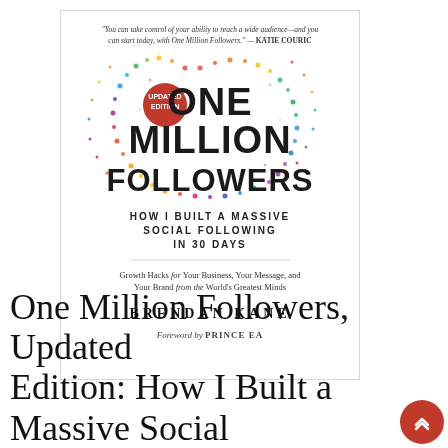[Figure (illustration): Book cover of 'One Million Followers, Updated Edition: How I Built a Massive Social Following in 30 Days' by Brendan Kane, with foreword by Prince EA. Features large bold text over a colorful dot-pattern circle on a white background. A red badge reads 'Updated Edition'. A quote from Katie Couric appears at the top.]
One Million Followers, Updated Edition: How I Built a Massive Social...